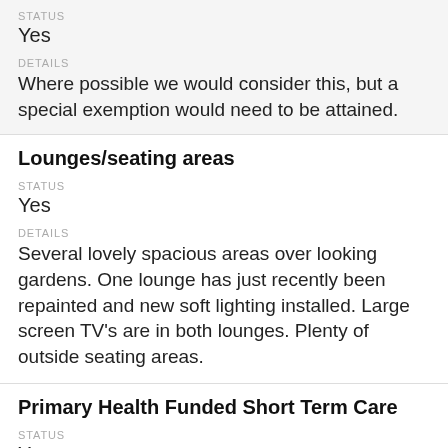STATUS
Yes
DETAILS
Where possible we would consider this, but a special exemption would need to be attained.
Lounges/seating areas
STATUS
Yes
DETAILS
Several lovely spacious areas over looking gardens. One lounge has just recently been repainted and new soft lighting installed. Large screen TV's are in both lounges. Plenty of outside seating areas.
Primary Health Funded Short Term Care
STATUS
Yes